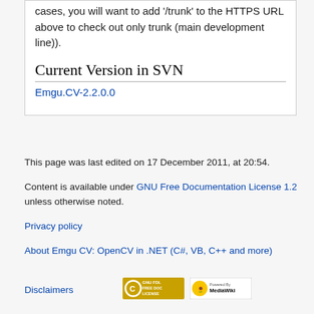... Browse Repository URL. In most cases, you will want to add '/trunk' to the HTTPS URL above to check out only trunk (main development line)).
Current Version in SVN
Emgu.CV-2.2.0.0
This page was last edited on 17 December 2011, at 20:54.
Content is available under GNU Free Documentation License 1.2 unless otherwise noted.
Privacy policy
About Emgu CV: OpenCV in .NET (C#, VB, C++ and more)
Disclaimers
[Figure (logo): GNU FDL Free Doc License logo]
[Figure (logo): Powered by MediaWiki logo]